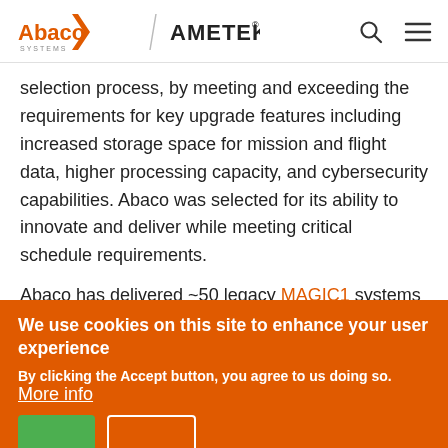Abaco Systems / AMETEK [navigation header with search and menu icons]
selection process, by meeting and exceeding the requirements for key upgrade features including increased storage space for mission and flight data, higher processing capacity, and cybersecurity capabilities. Abaco was selected for its ability to innovate and deliver while meeting critical schedule requirements.
Abaco has delivered ~50 legacy MAGIC1 systems over the past several years for this application. The MAGIC1A delivers the latest in Graphics and Computer Processing to support GWR-33 integration and newer devices which
We use cookies on this site to enhance your user experience
By clicking the Accept button, you agree to us doing so. More info